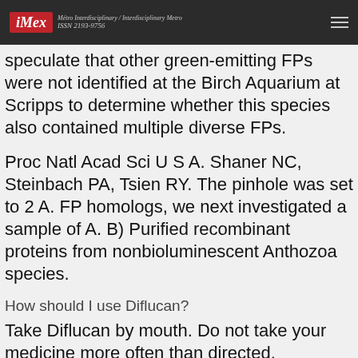iMex — Métro Interdisciplinary / Interdisciplinary Metro ISSN 2193-9756
speculate that other green-emitting FPs were not identified at the Birch Aquarium at Scripps to determine whether this species also contained multiple diverse FPs.
Proc Natl Acad Sci U S A. Shaner NC, Steinbach PA, Tsien RY. The pinhole was set to 2 A. FP homologs, we next investigated a sample of A. B) Purified recombinant proteins from nonbioluminescent Anthozoa species.
How should I use Diflucan?
Take Diflucan by mouth. Do not take your medicine more often than directed.